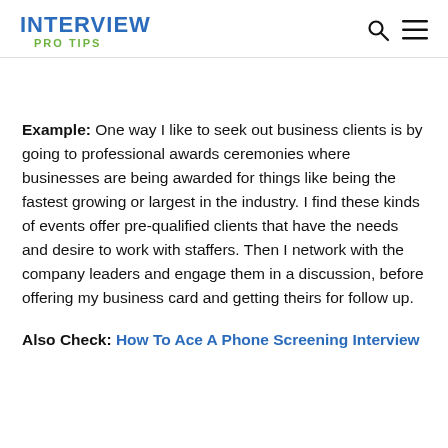INTERVIEW PRO TIPS
Example: One way I like to seek out business clients is by going to professional awards ceremonies where businesses are being awarded for things like being the fastest growing or largest in the industry. I find these kinds of events offer pre-qualified clients that have the needs and desire to work with staffers. Then I network with the company leaders and engage them in a discussion, before offering my business card and getting theirs for follow up.
Also Check: How To Ace A Phone Screening Interview